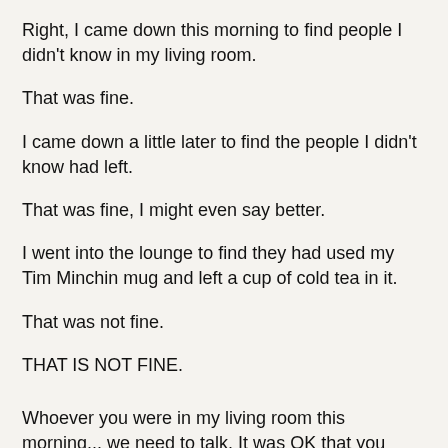Right, I came down this morning to find people I didn't know in my living room.
That was fine.
I came down a little later to find the people I didn't know had left.
That was fine, I might even say better.
I went into the lounge to find they had used my Tim Minchin mug and left a cup of cold tea in it.
That was not fine.
THAT IS NOT FINE.
Whoever you were in my living room this morning... we need to talk. It was OK that you slept on my sofa, I'm sure you must know one of my housemates. It's OK that you wanted tea, it's OK that you borrowed a mug to do it.